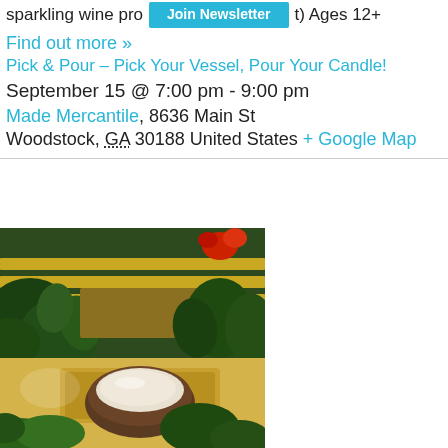sparkling wine pro... [Join Newsletter button] t) Ages 12+
Find out more »
Pick & Pour – Pick Your Vessel, Pour Your Candle!
September 15 @ 7:00 pm - 9:00 pm
Made Mercantile, 8636 Main St
Woodstock, GA 30188 United States + Google Map
[Figure (photo): Photo of candle-making supplies including a wooden candle vessel, plants, and a sign reading MAKERS in the background]